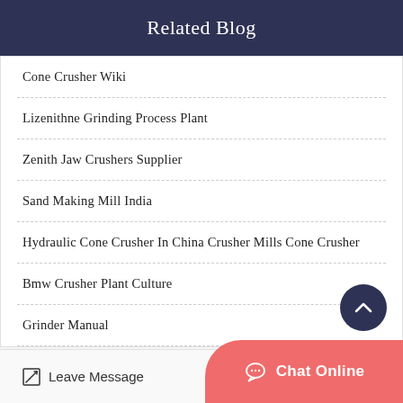Related Blog
Cone Crusher Wiki
Lizenithne Grinding Process Plant
Zenith Jaw Crushers Supplier
Sand Making Mill India
Hydraulic Cone Crusher In China Crusher Mills Cone Crusher
Bmw Crusher Plant Culture
Grinder Manual
Leave Message  Chat Online